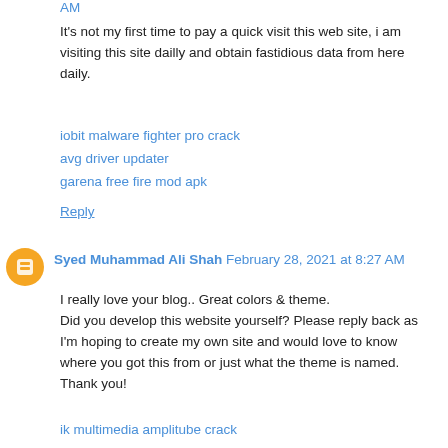AM
It's not my first time to pay a quick visit this web site, i am visiting this site dailly and obtain fastidious data from here daily.
iobit malware fighter pro crack
avg driver updater
garena free fire mod apk
Reply
Syed Muhammad Ali Shah  February 28, 2021 at 8:27 AM
I really love your blog.. Great colors & theme. Did you develop this website yourself? Please reply back as I'm hoping to create my own site and would love to know where you got this from or just what the theme is named. Thank you!
ik multimedia amplitube crack